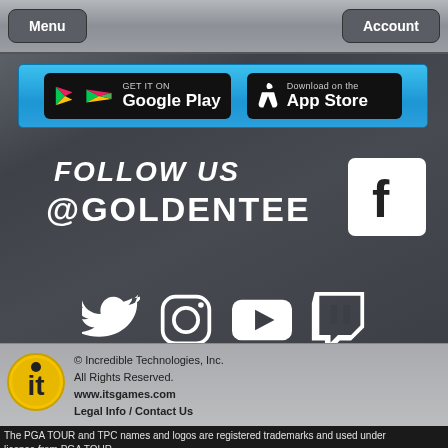Menu    Account
[Figure (screenshot): App store download buttons: GET IT ON Google Play and Download on the App Store, on a blue banner background]
FOLLOW US @GOLDENTEE
[Figure (logo): Facebook logo icon (white F on white square)]
[Figure (infographic): Social media icons row: Twitter, Instagram, YouTube, Twitch]
© Incredible Technologies, Inc. All Rights Reserved. www.itsgames.com Legal Info / Contact Us
The PGA TOUR and TPC names and logos are registered trademarks and used under license from PGA TOUR